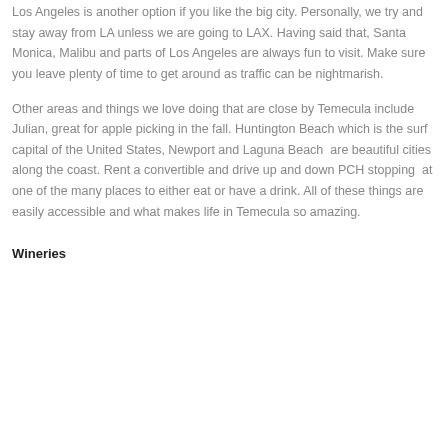Los Angeles is another option if you like the big city. Personally, we try and stay away from LA unless we are going to LAX. Having said that, Santa Monica, Malibu and parts of Los Angeles are always fun to visit. Make sure you leave plenty of time to get around as traffic can be nightmarish.
Other areas and things we love doing that are close by Temecula include Julian, great for apple picking in the fall. Huntington Beach which is the surf capital of the United States, Newport and Laguna Beach  are beautiful cities along the coast. Rent a convertible and drive up and down PCH stopping  at one of the many places to either eat or have a drink. All of these things are easily accessible and what makes life in Temecula so amazing.
Wineries